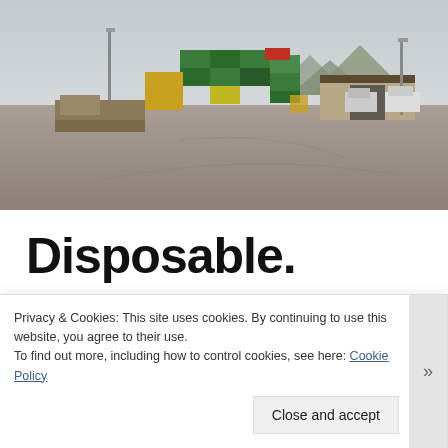[Figure (photo): Outdoor shipping container yard with stacked colorful (green, yellow, red) freight containers, vehicles parked near a warehouse/depot building, mountains in background, overcast sky. Tarmac/pavement in foreground.]
Disposable.
Privacy & Cookies: This site uses cookies. By continuing to use this website, you agree to their use.
To find out more, including how to control cookies, see here: Cookie Policy
Close and accept